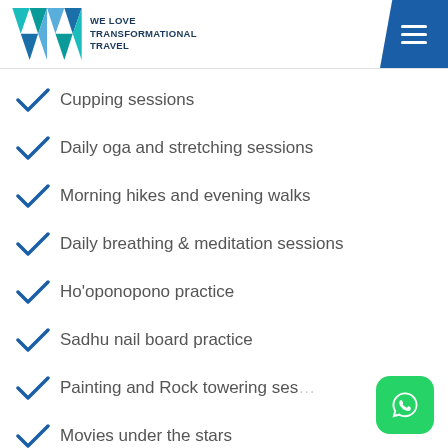WE LOVE TRANSFORMATIONAL TRAVEL
Cupping sessions
Daily oga and stretching sessions
Morning hikes and evening walks
Daily breathing & meditation sessions
Ho'oponopono practice
Sadhu nail board practice
Painting and Rock towering ses…
Movies under the stars